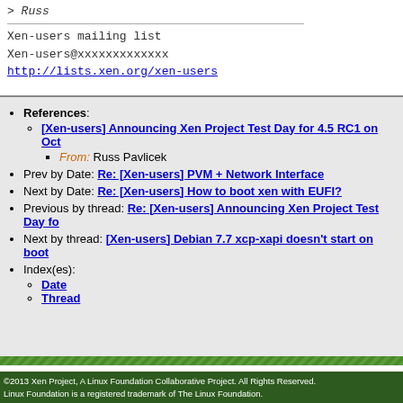> Russ
Xen-users mailing list
Xen-users@xxxxxxxxxxxxx
http://lists.xen.org/xen-users
References: [Xen-users] Announcing Xen Project Test Day for 4.5 RC1 on Oct -- From: Russ Pavlicek
Prev by Date: Re: [Xen-users] PVM + Network Interface
Next by Date: Re: [Xen-users] How to boot xen with EUFI?
Previous by thread: Re: [Xen-users] Announcing Xen Project Test Day fo
Next by thread: [Xen-users] Debian 7.7 xcp-xapi doesn't start on boot
Index(es): Date, Thread
©2013 Xen Project, A Linux Foundation Collaborative Project. All Rights Reserved. Linux Foundation is a registered trademark of The Linux Foundation.